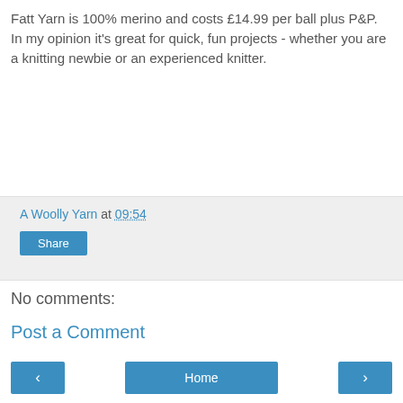Fatt Yarn is 100% merino and costs £14.99 per ball plus P&P. In my opinion it's great for quick, fun projects - whether you are a knitting newbie or an experienced knitter.
A Woolly Yarn at 09:54
Share
No comments:
Post a Comment
‹
Home
›